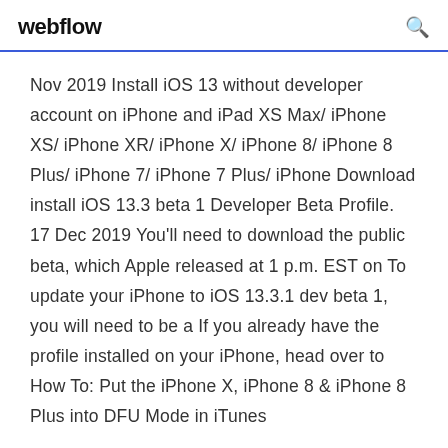webflow
Nov 2019 Install iOS 13 without developer account on iPhone and iPad XS Max/ iPhone XS/ iPhone XR/ iPhone X/ iPhone 8/ iPhone 8 Plus/ iPhone 7/ iPhone 7 Plus/ iPhone Download install iOS 13.3 beta 1 Developer Beta Profile. 17 Dec 2019 You'll need to download the public beta, which Apple released at 1 p.m. EST on To update your iPhone to iOS 13.3.1 dev beta 1, you will need to be a If you already have the profile installed on your iPhone, head over to How To: Put the iPhone X, iPhone 8 & iPhone 8 Plus into DFU Mode in iTunes
17 Dec 2019 You'll need to download the public